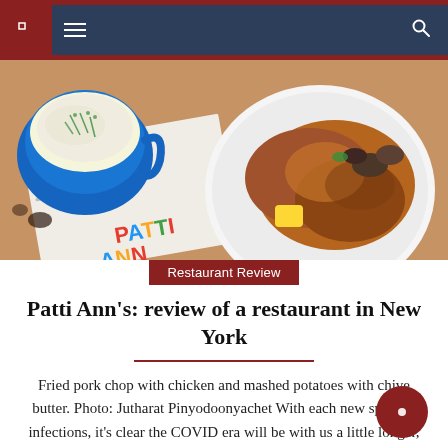Navigation bar with menu icon and search icon
[Figure (photo): Food photo showing fried pork chop with chicken and a blue bowl of mashed potatoes with chive butter on a wooden table with a Patti Ann's menu visible]
Restaurant Review
Patti Ann’s: review of a restaurant in New York
Fried pork chop with chicken and mashed potatoes with chive butter. Photo: Jutharat Pinyodoonyachet With each new spike in infections, it’s clear the COVID era will be with us a little longer, but you can already tell that chefs and restaurateurs have formed strong opinions about what their customers seem to want (or don’t want [...]